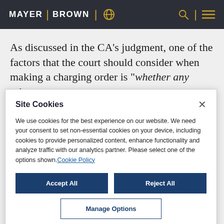MAYER | BROWN
As discussed in the CA's judgment, one of the factors that the court should consider when making a charging order is "whether any other
Site Cookies
We use cookies for the best experience on our website. We need your consent to set non-essential cookies on your device, including cookies to provide personalized content, enhance functionality and analyze traffic with our analytics partner. Please select one of the options shown. Cookie Policy
Accept All
Reject All
Manage Options